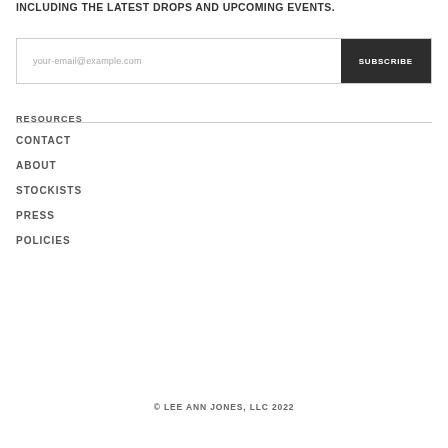INCLUDING THE LATEST DROPS AND UPCOMING EVENTS.
your-email@example.com
SUBSCRIBE
RESOURCES
CONTACT
ABOUT
STOCKISTS
PRESS
POLICIES
© LEE ANN JONES, LLC 2022